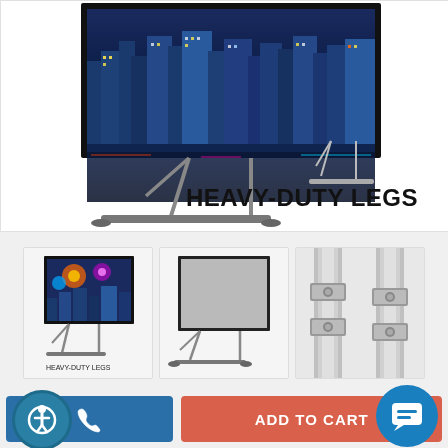[Figure (photo): Large projection screen on heavy-duty tripod legs with city skyline image displayed, text overlay 'HEAVY-DUTY LEGS']
[Figure (photo): Thumbnail 1: Projection screen with city/fireworks image and 'HEAVY-DUTY LEGS' label]
[Figure (photo): Thumbnail 2: Projection screen on stand, gray surface, side view]
[Figure (photo): Thumbnail 3: Close-up of metal hardware/clamps on poles]